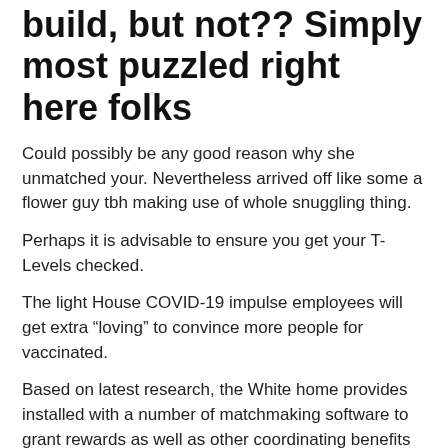build, but not?? Simply most puzzled right here folks
Could possibly be any good reason why she unmatched your. Nevertheless arrived off like some a flower guy tbh making use of whole snuggling thing.
Perhaps it is advisable to ensure you get your T-Levels checked.
The light House COVID-19 impulse employees will get extra “loving” to convince more people for vaccinated.
Based on latest research, the White home provides installed with a number of matchmaking software to grant rewards as well as other coordinating benefits to its vaccinated customers.
White Quarters COVID-19 Vaccine Str...